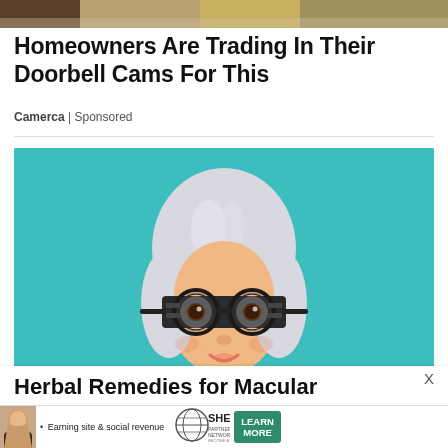[Figure (photo): Top portion of a landscape/outdoor photo banner]
Homeowners Are Trading In Their Doorbell Cams For This
Camerca | Sponsored
[Figure (illustration): Cartoon illustration of an elderly woman with white bob haircut wearing an optician's trial lens frame on a teal/turquoise background]
Herbal Remedies for Macular
[Figure (infographic): SHE Media partner network banner advertisement with woman photo, text 'Earning site & social revenue', SHE Media logo, and LEARN MORE button]